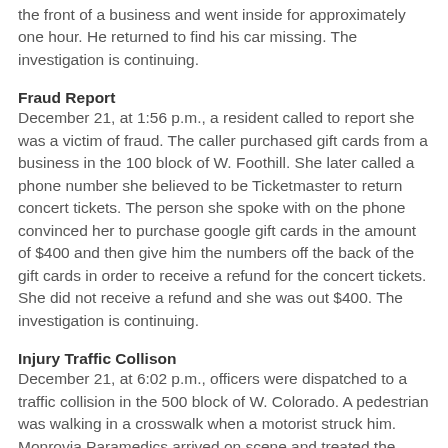the front of a business and went inside for approximately one hour. He returned to find his car missing. The investigation is continuing.
Fraud Report
December 21, at 1:56 p.m., a resident called to report she was a victim of fraud. The caller purchased gift cards from a business in the 100 block of W. Foothill. She later called a phone number she believed to be Ticketmaster to return concert tickets. The person she spoke with on the phone convinced her to purchase google gift cards in the amount of $400 and then give him the numbers off the back of the gift cards in order to receive a refund for the concert tickets. She did not receive a refund and she was out $400. The investigation is continuing.
Injury Traffic Collison
December 21, at 6:02 p.m., officers were dispatched to a traffic collision in the 500 block of W. Colorado. A pedestrian was walking in a crosswalk when a motorist struck him. Monrovia Paramedics arrived on scene and treated the pedestrian. The pedestrian complained of pain to his legs,